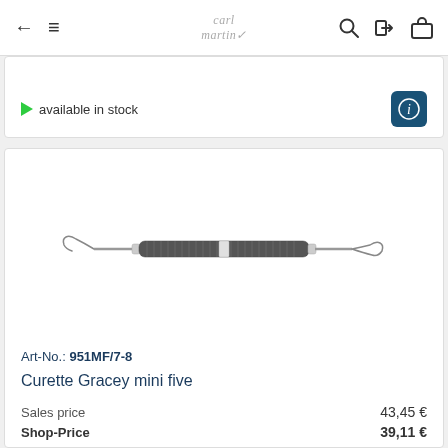carl martin — navigation bar with back, menu, search, login, and cart icons
available in stock
[Figure (photo): Dental Gracey curette instrument — a double-ended periodontal curette with a textured metal handle and two curved working ends]
Art-No.: 951MF/7-8
Curette Gracey mini five
Sales price  43,45 €
Shop-Price  39,11 €